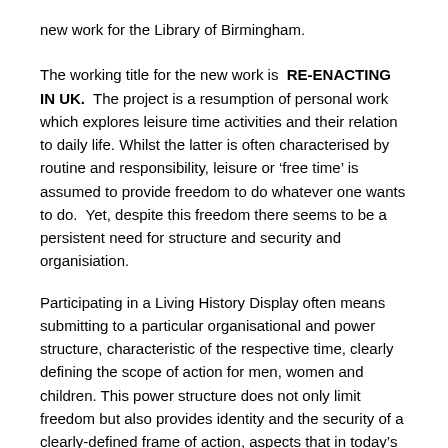new work for the Library of Birmingham.
The working title for the new work is RE-ENACTING IN UK.  The project is a resumption of personal work which explores leisure time activities and their relation to daily life. Whilst the latter is often characterised by routine and responsibility, leisure or ‘free time’ is assumed to provide freedom to do whatever one wants to do.  Yet, despite this freedom there seems to be a persistent need for structure and security and organisiation.
Participating in a Living History Display often means submitting to a particular organisational and power structure, characteristic of the respective time, clearly defining the scope of action for men, women and children. This power structure does not only limit freedom but also provides identity and the security of a clearly-defined frame of action, aspects that in today’s society are consistently pressurized.  The new work will explore this topic from another angle asking why re-enacting the past is so seductive as leisure time activity. Perhaps experiencing a hard life during the medieval age resembles access to what is missing in contemporary life.